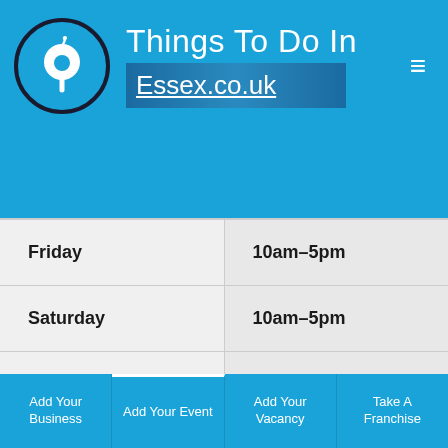Things To Do In Essex.co.uk
| Friday | 10am–5pm |
| Saturday | 10am–5pm |
| Sunday | 10am–3pm |
CBD Products Essex | CBD Oil Essex | Dispensary
Add Your Business | Add Your Event | Add Your Vacancy | Take A Franchise